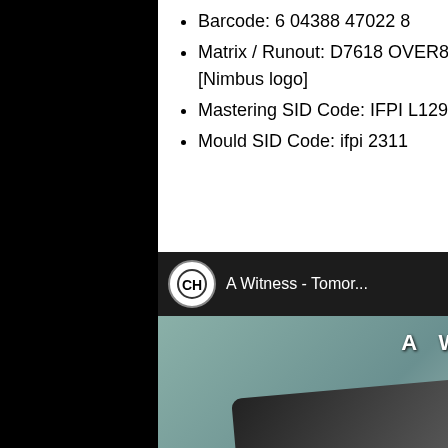Barcode: 6 04388 47022 8
Matrix / Runout: D7618 OVER88VPCD • 1:0 [Nimbus logo]
Mastering SID Code: IFPI L129
Mould SID Code: ifpi 2311
[Figure (screenshot): YouTube video thumbnail for 'A Witness - Tomor...' showing album art with text 'A WITNESS' and 'I LOVE YOU, MR DISPOSABLE RAZORS' with a red YouTube play button overlay. Channel icon is a circular logo with 'CH'.]
[Figure (screenshot): YouTube video thumbnail for 'A Witness - A1.Lu...' showing album art with 'A WITNESS' text. Channel icon is a dark green circle with letter 'M'.]